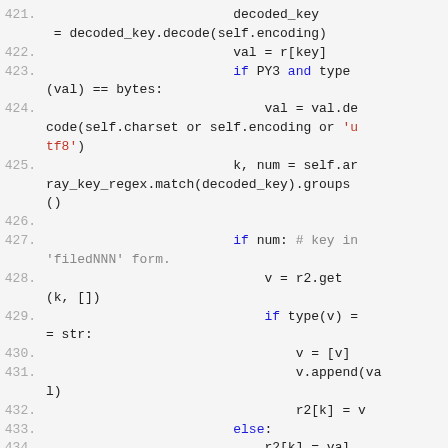[Figure (screenshot): Python source code listing, lines 421-435, showing code for decoding keys and building a result dictionary from Redis-like response data.]